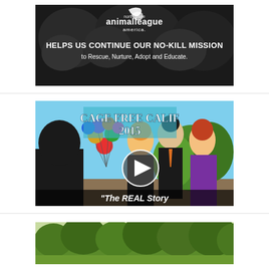[Figure (illustration): North Shore Animal League America banner: dark background with animal paws/faces, logo text 'north shore animalleague america.' and white text 'HELPS US CONTINUE OUR NO-KILL MISSION to Rescue, Nurture, Adopt and Educate.']
[Figure (screenshot): Animated cartoon video thumbnail showing 'CAGE FREE CALIF 2015' text, cartoon characters (two women and a man with glasses), colorful balloons, a play button circle overlay, and text '"The REAL Story' at the bottom.]
[Figure (photo): Outdoor scene with large green trees visible against sky, appearing to be a park or garden setting.]